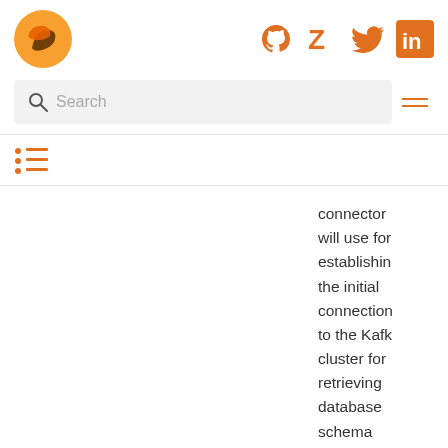Debezium logo and social icons (GitHub, Zulip, Twitter, LinkedIn)
[Figure (screenshot): Website navigation header with Debezium fox logo and orange social media icons for GitHub, Zulip, Twitter, and LinkedIn]
[Figure (screenshot): Search bar with magnifying glass icon and placeholder text 'Search', plus hamburger menu icon]
[Figure (screenshot): Table of contents list icon]
connector will use for establishing the initial connection to the Kafka cluster for retrieving database schema history previously stored by